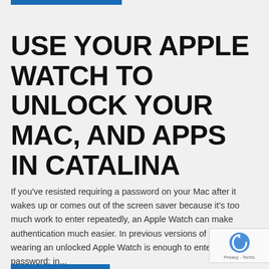USE YOUR APPLE WATCH TO UNLOCK YOUR MAC, AND APPS IN CATALINA
If you've resisted requiring a password on your Mac after it wakes up or comes out of the screen saver because it's too much work to enter repeatedly, an Apple Watch can make authentication much easier. In previous versions of macOS, just wearing an unlocked Apple Watch is enough to enter your Mac's password; in...